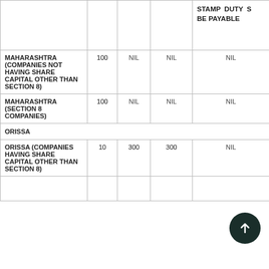|  |  |  |  | STAMP DUTY SHALL BE PAYABLE |
| --- | --- | --- | --- | --- |
| MAHARASHTRA (COMPANIES NOT HAVING SHARE CAPITAL OTHER THAN SECTION 8) | 100 | NIL | NIL | NIL |
| MAHARASHTRA (SECTION 8 COMPANIES) | 100 | NIL | NIL | NIL |
| ORISSA |  |  |  |  |
| ORISSA (COMPANIES HAVING SHARE CAPITAL OTHER THAN SECTION 8) | 10 | 300 | 300 | NIL |